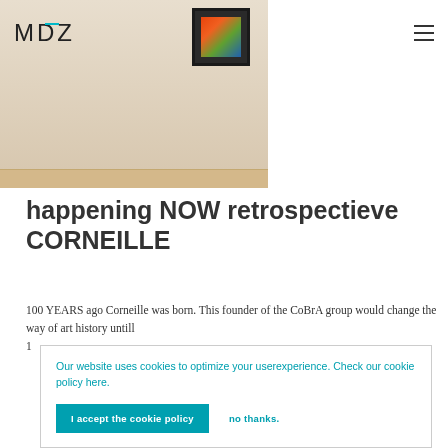[Figure (photo): Gallery interior photo showing a framed colorful artwork on a beige/warm wall with wooden floor, partially visible. MDZ logo overlaid on the photo.]
MDZ (logo) with hamburger menu icon
happening NOW retrospectieve CORNEILLE
100 YEARS ago Corneille was born. This founder of the CoBrA group would change the way of art history untill 1
Our website uses cookies to optimize your userexperience. Check our cookie policy here.
I accept the cookie policy    no thanks.